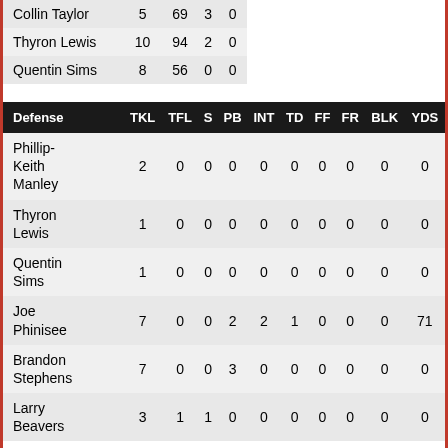|  | TKL | TFL | S | PB | INT | TD | FF | FR | BLK | YDS |
| --- | --- | --- | --- | --- | --- | --- | --- | --- | --- | --- |
| Collin Taylor | 5 | 69 | 3 | 0 |
| Thyron Lewis | 10 | 94 | 2 | 0 |
| Quentin Sims | 8 | 56 | 0 | 0 |
| Defense | TKL | TFL | S | PB | INT | TD | FF | FR | BLK | YDS |
| Phillip-Keith Manley | 2 | 0 | 0 | 0 | 0 | 0 | 0 | 0 | 0 | 0 |
| Thyron Lewis | 1 | 0 | 0 | 0 | 0 | 0 | 0 | 0 | 0 | 0 |
| Quentin Sims | 1 | 0 | 0 | 0 | 0 | 0 | 0 | 0 | 0 | 0 |
| Joe Phinisee | 7 | 0 | 0 | 2 | 2 | 1 | 0 | 0 | 0 | 71 |
| Brandon Stephens | 7 | 0 | 0 | 3 | 0 | 0 | 0 | 0 | 0 | 0 |
| Larry Beavers | 3 | 1 | 1 | 0 | 0 | 0 | 0 | 0 | 0 | 0 |